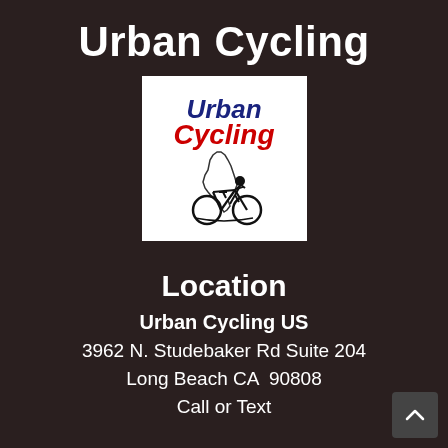Urban Cycling
[Figure (logo): Urban Cycling logo: text 'Urban' in dark blue bold italic, 'Cycling' in red bold italic, with outline of California state and a stylized cyclist silhouette in black]
Location
Urban Cycling US
3962 N. Studebaker Rd Suite 204
Long Beach CA  90808
Call or Text